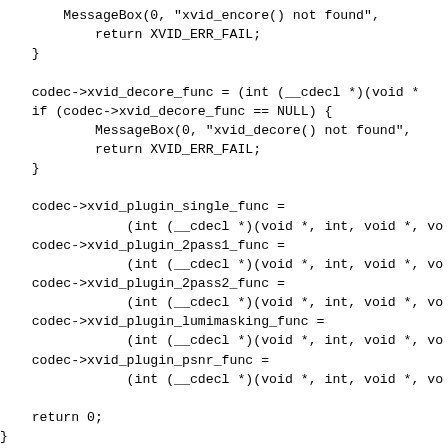MessageBox(0, "xvid_encore() not found",
            return XVID_ERR_FAIL;
    }

    codec->xvid_decore_func = (int (__cdecl *)(void *
    if (codec->xvid_decore_func == NULL) {
            MessageBox(0, "xvid_decore() not found",
            return XVID_ERR_FAIL;
    }

    codec->xvid_plugin_single_func =
                (int (__cdecl *)(void *, int, void *, vo
    codec->xvid_plugin_2pass1_func =
                (int (__cdecl *)(void *, int, void *, vo
    codec->xvid_plugin_2pass2_func =
                (int (__cdecl *)(void *, int, void *, vo
    codec->xvid_plugin_lumimasking_func =
                (int (__cdecl *)(void *, int, void *, vo
    codec->xvid_plugin_psnr_func =
                (int (__cdecl *)(void *, int, void *, vo

    return 0;
}

/* constant-quant zones for fixed quant encoding */
static void
prepare_cquant_zones(CONFIG * config) {

        int i = 0;
        if (config->num_zones == 0 || config->zones[0].f